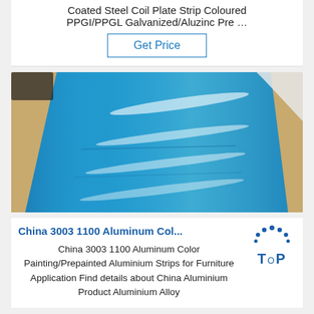Coated Steel Coil Plate Strip Coloured PPGI/PPGL Galvanized/Aluzinc Pre …
Get Price
[Figure (photo): Blue aluminium/steel coil sheet being unrolled, showing shiny blue surface with white paper interleaving, surrounded by brown packaging paper]
China 3003 1100 Aluminum Col...
China 3003 1100 Aluminum Color Painting/Prepainted Aluminium Strips for Furniture Application Find details about China Aluminium Product Aluminium Alloy
[Figure (logo): TOP logo mark: blue dots arranged in arc above the word TOP in blue bold text]